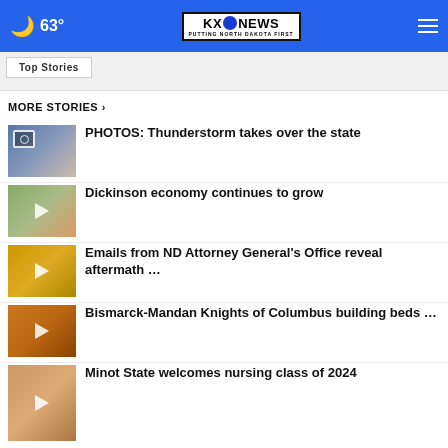63° KXO NEWS PUTTING NORTH DAKOTA FIRST
Top Stories
MORE STORIES ›
PHOTOS: Thunderstorm takes over the state
Dickinson economy continues to grow
Emails from ND Attorney General's Office reveal aftermath …
Bismarck-Mandan Knights of Columbus building beds …
Minot State welcomes nursing class of 2024